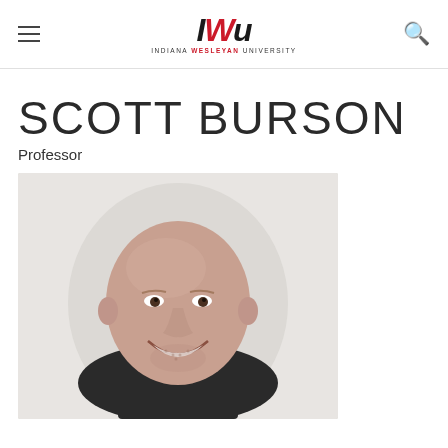IWU - Indiana Wesleyan University
SCOTT BURSON
Professor
[Figure (photo): Professional headshot of Scott Burson, a bald smiling man with a short beard, wearing a dark jacket, against a light gray background.]